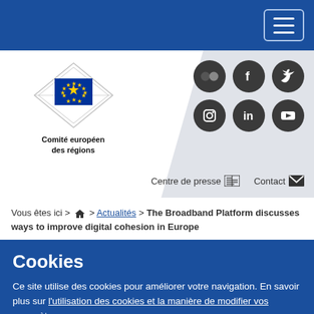[Figure (logo): Hamburger menu button (three horizontal lines) in top right navigation bar]
[Figure (logo): Comité européen des régions logo with EU flag emblem and decorative diamond frame]
[Figure (infographic): Six social media icons (Flickr, Facebook, Twitter, Instagram, LinkedIn, YouTube) in dark circles]
Centre de presse   Contact
Vous êtes ici > 🏠 > Actualités > The Broadband Platform discusses ways to improve digital cohesion in Europe
Cookies
Ce site utilise des cookies pour améliorer votre navigation. En savoir plus sur l'utilisation des cookies et la manière de modifier vos paramètres.
J'accepte les cookies
Je refuse les cookies